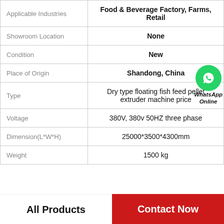| Property | Value |
| --- | --- |
| Applicable Industries | Food & Beverage Factory, Farms, Retail |
| Showroom Location | None |
| Condition | New |
| Place of Origin | Shandong, China |
| Type | Dry type floating fish feed pellet extruder machine price |
| Voltage | 380V, 380v 50HZ three phase |
| Dimension(L*W*H) | 25000*3500*4300mm |
| Weight | 1500 kg |
WhatsApp Online
All Products   Contact Now